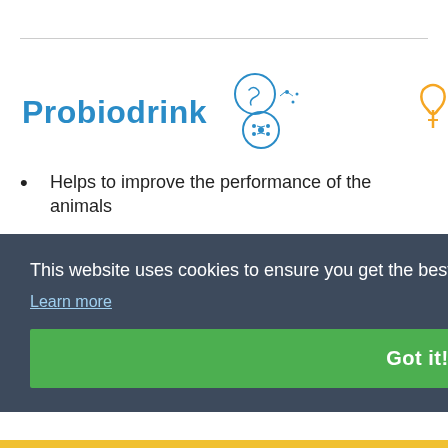Probiodrink
Helps to improve the performance of the animals
Provides probiotics to maintain a good flora in the gut
This website uses cookies to ensure you get the best experience on our website.
Learn more
Got it!